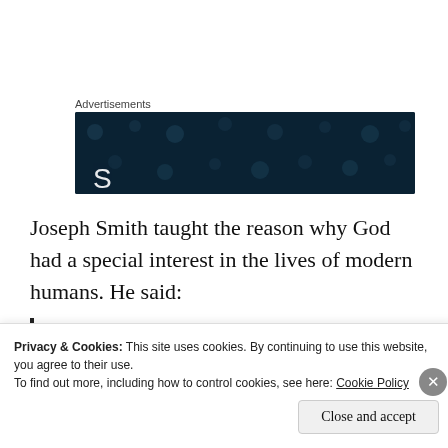Advertisements
[Figure (other): Dark navy advertisement banner with dot pattern and partial white text visible at bottom]
Joseph Smith taught the reason why God had a special interest in the lives of modern humans. He said:
I will go back to the beginning before the world was, to show what kind of a being God is. What sort of a being was God in the beginning? Open your ears
Privacy & Cookies: This site uses cookies. By continuing to use this website, you agree to their use.
To find out more, including how to control cookies, see here: Cookie Policy
Close and accept